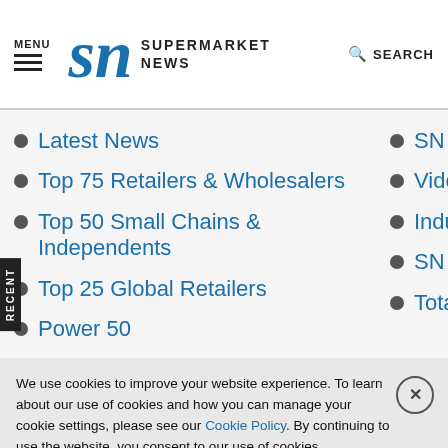MENU | SN SUPERMARKET NEWS | SEARCH
Latest News
Top 75 Retailers & Wholesalers
Top 50 Small Chains & Independents
Top 25 Global Retailers
Power 50
SN Photo G…
Videos
Industry Voi…
SN Viewpoi…
Total Access…
We use cookies to improve your website experience. To learn about our use of cookies and how you can manage your cookie settings, please see our Cookie Policy. By continuing to use the website, you consent to our use of cookies.